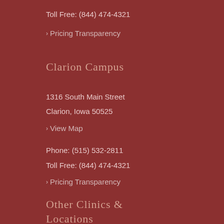Toll Free: (844) 474-4321
> Pricing Transparency
Clarion Campus
1316 South Main Street
Clarion, Iowa 50525
> View Map
Phone: (515) 532-2811
Toll Free: (844) 474-4321
> Pricing Transparency
Other Clinics & Locations
> Ames Clinic (Ames)
> Belmond Clinic (Belmond)
> Clarion Clinic (Clarion)